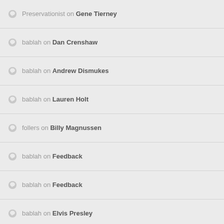Preservationist on Gene Tierney
bablah on Dan Crenshaw
bablah on Andrew Dismukes
bablah on Lauren Holt
follers on Billy Magnussen
bablah on Feedback
bablah on Feedback
bablah on Elvis Presley
JackB on Elvis Presley
JackB on Riley Keough